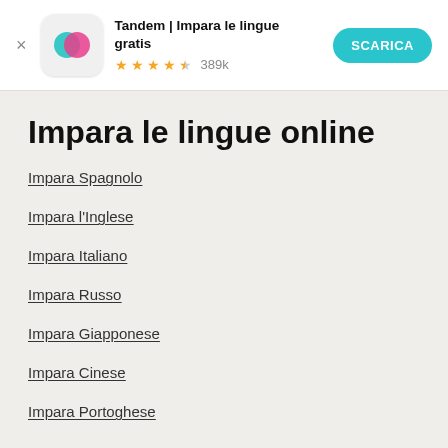[Figure (screenshot): App store banner for Tandem app with icon, name, stars rating of 4.5 and 389k reviews, and a SCARICA (download) button]
Impara le lingue online
Impara Spagnolo
Impara l'Inglese
Impara Italiano
Impara Russo
Impara Giapponese
Impara Cinese
Impara Portoghese